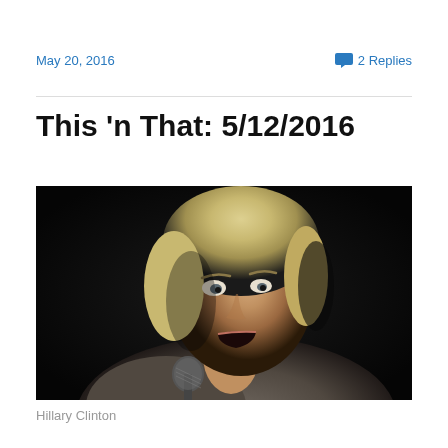May 20, 2016   💬 2 Replies
This 'n That: 5/12/2016
[Figure (photo): Portrait photo of Hillary Clinton speaking into a microphone against a dark background, looking upward with mouth open.]
Hillary Clinton